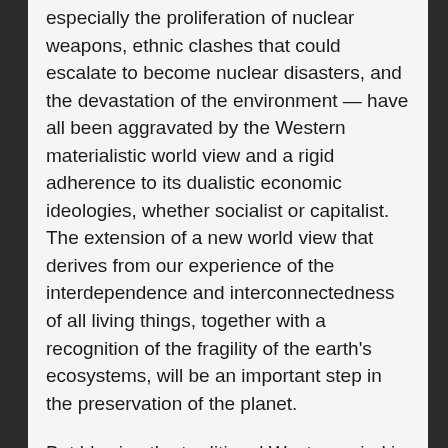especially the proliferation of nuclear weapons, ethnic clashes that could escalate to become nuclear disasters, and the devastation of the environment — have all been aggravated by the Western materialistic world view and a rigid adherence to its dualistic economic ideologies, whether socialist or capitalist. The extension of a new world view that derives from our experience of the interdependence and interconnectedness of all living things, together with a recognition of the fragility of the earth's ecosystems, will be an important step in the preservation of the planet.
But blowing the traditional Western mind is not enough. Leadership and action on behalf of life and the environment will be required. We will need to take risks and expose our vulnerabilities. Perhaps it has always been so, but I am struck by how many of the